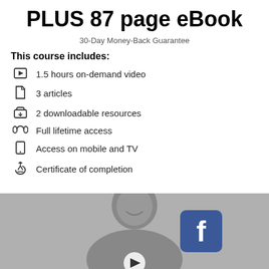PLUS 87 page eBook
30-Day Money-Back Guarantee
This course includes:
1.5 hours on-demand video
3 articles
2 downloadable resources
Full lifetime access
Access on mobile and TV
Certificate of completion
[Figure (photo): Grayscale photo of a woman smiling, with a Facebook icon overlay and a play button at the bottom]